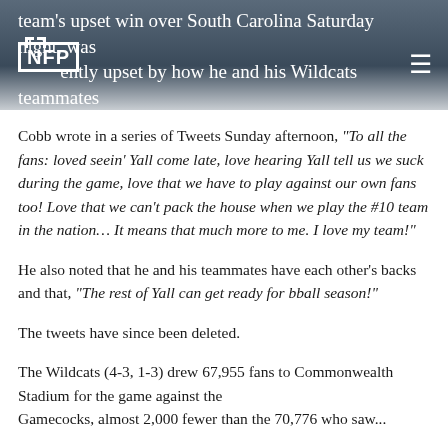team's upset win over South Carolina Saturday night, was apparently upset by how he and his Wildcats teammates were treated by the home crowd.
Cobb wrote in a series of Tweets Sunday afternoon, "To all the fans: loved seein' Yall come late, love hearing Yall tell us we suck during the game, love that we have to play against our own fans too! Love that we can't pack the house when we play the #10 team in the nation... It means that much more to me. I love my team!"
He also noted that he and his teammates have each other's backs and that, "The rest of Yall can get ready for bball season!"
The tweets have since been deleted.
The Wildcats (4-3, 1-3) drew 67,955 fans to Commonwealth Stadium for the game against the Gamecocks, almost 2,000 fewer than the 70,776 who saw...